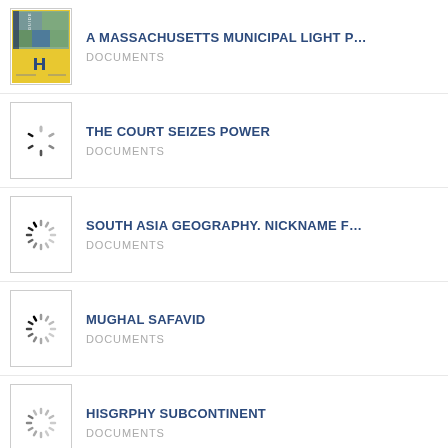A MASSACHUSETTS MUNICIPAL LIGHT P...
DOCUMENTS
THE COURT SEIZES POWER
DOCUMENTS
SOUTH ASIA GEOGRAPHY. NICKNAME F...
DOCUMENTS
MUGHAL SAFAVID
DOCUMENTS
HISGRPHY SUBCONTINENT
DOCUMENTS